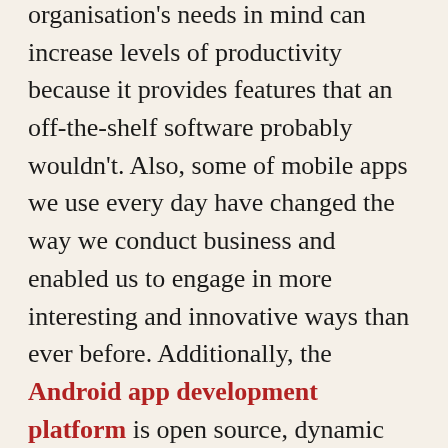organisation's needs in mind can increase levels of productivity because it provides features that an off-the-shelf software probably wouldn't. Also, some of mobile apps we use every day have changed the way we conduct business and enabled us to engage in more interesting and innovative ways than ever before. Additionally, the Android app development platform is open source, dynamic and collectively enriching, which simplifies the job of the users and can be used by multiple people in ways that are dynamic to their needs.
Learn more about Creative Programs and Systems, CPS, and the IT solutions they provide including IT consulting, computer consulting, network